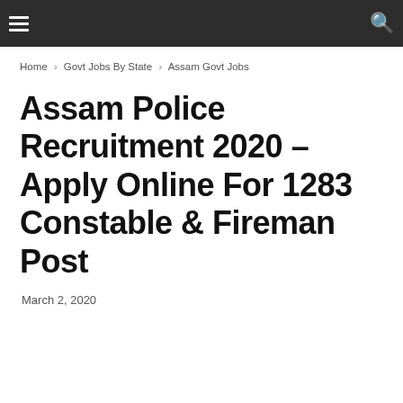Home › Govt Jobs By State › Assam Govt Jobs
Assam Police Recruitment 2020 – Apply Online For 1283 Constable & Fireman Post
March 2, 2020